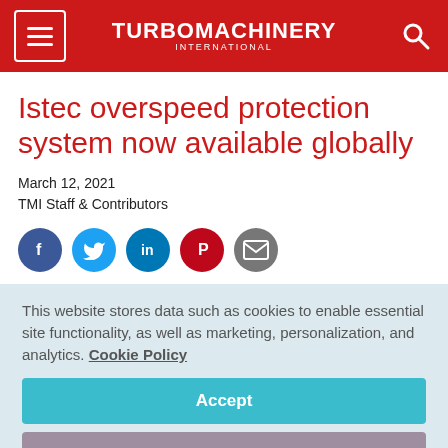TURBOMACHINERY INTERNATIONAL
Istec overspeed protection system now available globally
March 12, 2021
TMI Staff & Contributors
[Figure (infographic): Social share icons: Facebook, Twitter, LinkedIn, Pinterest, Email]
This website stores data such as cookies to enable essential site functionality, as well as marketing, personalization, and analytics. Cookie Policy
Accept
Deny